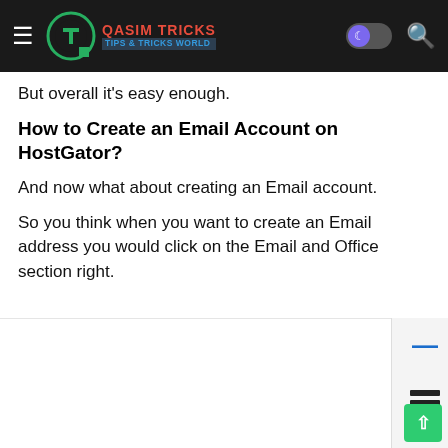QASIM TRICKS TIPS & TRICKS WORLD
But overall it's easy enough.
How to Create an Email Account on HostGator?
And now what about creating an Email account.
So you think when you want to create an Email address you would click on the Email and Office section right.
[Figure (screenshot): Screenshot of HostGator control panel sidebar showing Dashboard, Hosting, and Marketplace menu items with icons]